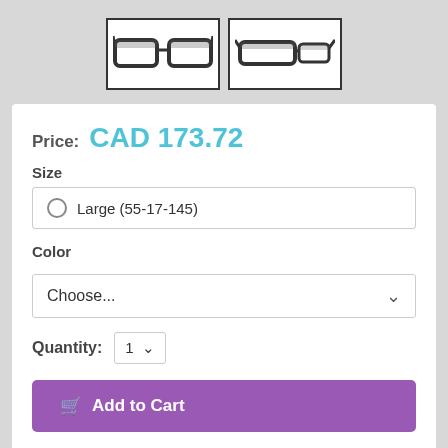[Figure (photo): Two thumbnail images of eyeglasses/glasses frames side by side, front view and side/angled view]
Price: CAD 173.72
Size
Large (55-17-145)
Color
Choose...
Quantity: 1
Add to Cart
Made By:
Versace
Description